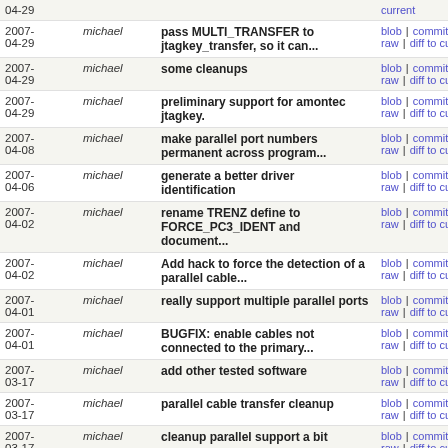| Date | Author | Message | Actions |
| --- | --- | --- | --- |
| 2007-04-29 | michael | pass MULTI_TRANSFER to jtagkey_transfer, so it can... | blob | commitdiff | raw | diff to current |
| 2007-04-29 | michael | some cleanups | blob | commitdiff | raw | diff to current |
| 2007-04-29 | michael | preliminary support for amontec jtagkey. | blob | commitdiff | raw | diff to current |
| 2007-04-08 | michael | make parallel port numbers permanent across program... | blob | commitdiff | raw | diff to current |
| 2007-04-06 | michael | generate a better driver identification | blob | commitdiff | raw | diff to current |
| 2007-04-02 | michael | rename TRENZ define to FORCE_PC3_IDENT and document... | blob | commitdiff | raw | diff to current |
| 2007-04-02 | michael | Add hack to force the detection of a parallel cable... | blob | commitdiff | raw | diff to current |
| 2007-04-01 | michael | really support multiple parallel ports | blob | commitdiff | raw | diff to current |
| 2007-04-01 | michael | BUGFIX: enable cables not connected to the primary... | blob | commitdiff | raw | diff to current |
| 2007-03-17 | michael | add other tested software | blob | commitdiff | raw | diff to current |
| 2007-03-17 | michael | parallel cable transfer cleanup | blob | commitdiff | raw | diff to current |
| 2007-03-17 | michael | cleanup parallel support a bit | blob | commitdiff | raw | diff to current |
| 2007- | michael | always set ecpbase correctly. | blob | commitdiff | |